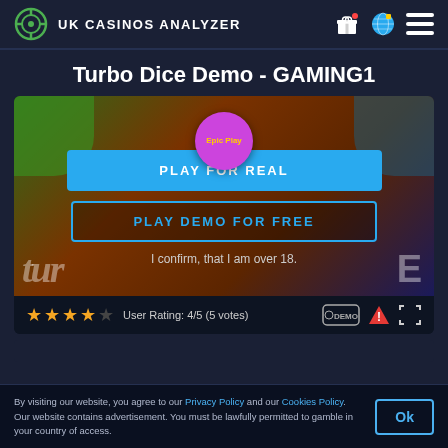UK CASINOS ANALYZER
Turbo Dice Demo - GAMING1
[Figure (screenshot): Game demo screen for Turbo Dice showing Play For Real and Play Demo For Free buttons with age confirmation text, over a colorful game background]
User Rating: 4/5 (5 votes)
By visiting our website, you agree to our Privacy Policy and our Cookies Policy. Our website contains advertisement. You must be lawfully permitted to gamble in your country of access.